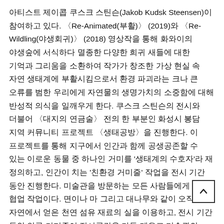아티스트 제이콥 쿠스크 스틴슨(Jakob Kudsk Steensen)이 참여하고 있다. 〈Re-Animated(부활)〉 (2019)와 〈Re-Wildling(야생회귀)〉 (2018) 영상작을 통해 화와이의 야생숲에 서식하다 멸종한 다양한 희귀 새들에 대한 기억과 그리움을 소환하여 작가가 창조한 가상 현실 속 자연 생태계에 부활시킴으로서 환경 파괴라는 크나 큰 오류를 범한 우리에게 자연물의 생명가치의 소중함에 대해 반성적 의식을 일깨우게 한다. 쿠스크 스틴슨의 전시와 더불어 〈대지의 연금술〉 전의 한 부분인 화성시 봉담 지역 커뮤니티 프로젝트 〈생태공방〉을 진행한다. 이 프로젝트를 통해 지구에서 인간과 함께 공생공존할 수 있는 이로운 동물 중 하나인 거미를 '생태계의 수호자'라 재 정의하고, 인간이 치는 '친환경 거미줄' 작업을 전시 기간 동안 진행한다. 미술관을 방문하는 모든 사람들에게 열린 협업 작업이다. 면이나 마 그리고 대나무와 같이 오직 자연에서 얻은 천연 섬유 재료의 실을 이용하고, 전시 기간 동안 인공 거미줄이 전시공간을 가득 메우고 미술관의 야회 공간까지 이어져 뻗어나가길 기대하고 있다. 커뮤니티 작업의 제목은 〈스파이더필리아(Spiderphilia, 거미사랑)〉 이다. 이 협업의 전 과정은 자연의 미덕에 훼손을 가한